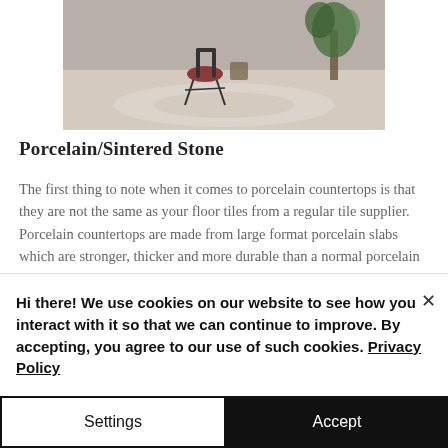[Figure (photo): Interior room scene showing a chair and plant on a light-colored floor, cropped at top]
Porcelain/Sintered Stone
The first thing to note when it comes to porcelain countertops is that they are not the same as your floor tiles from a regular tile supplier. Porcelain countertops are made from large format porcelain slabs which are stronger, thicker and more durable than a normal porcelain floor tile. Porcelain slabs are made from natural clays, silica and minerals and baked at
Hi there! We use cookies on our website to see how you interact with it so that we can continue to improve. By accepting, you agree to our use of such cookies. Privacy Policy
Settings
Accept